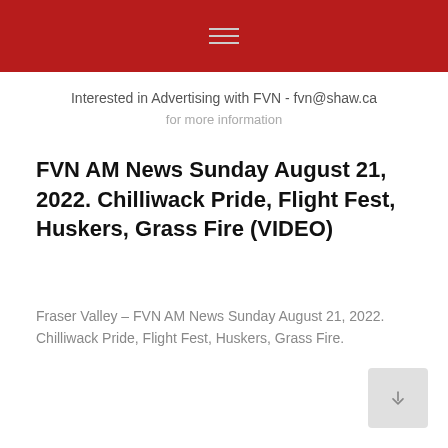FVN navigation header with hamburger menu
Interested in Advertising with FVN - fvn@shaw.ca
FVN AM News Sunday August 21, 2022. Chilliwack Pride, Flight Fest, Huskers, Grass Fire (VIDEO)
Fraser Valley – FVN AM News Sunday August 21, 2022. Chilliwack Pride, Flight Fest, Huskers, Grass Fire.